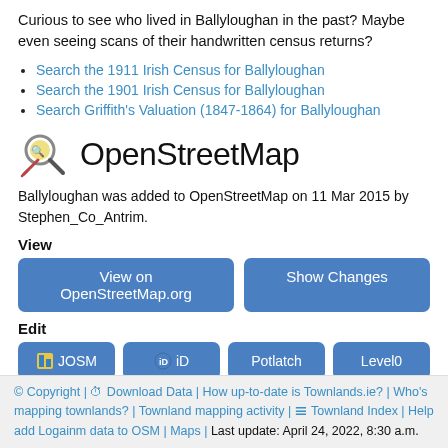Curious to see who lived in Ballyloughan in the past? Maybe even seeing scans of their handwritten census returns?
Search the 1911 Irish Census for Ballyloughan
Search the 1901 Irish Census for Ballyloughan
Search Griffith's Valuation (1847-1864) for Ballyloughan
OpenStreetMap
Ballyloughan was added to OpenStreetMap on 11 Mar 2015 by Stephen_Co_Antrim.
View
View on OpenStreetMap.org
Show Changes
Edit
JOSM
iD
Potlatch
Level0
© Copyright | ⏱ Download Data | How up-to-date is Townlands.ie? | Who's mapping townlands? | Townland mapping activity | ☰ Townland Index | Help add Logainm data to OSM | Maps | Last update: April 24, 2022, 8:30 a.m.